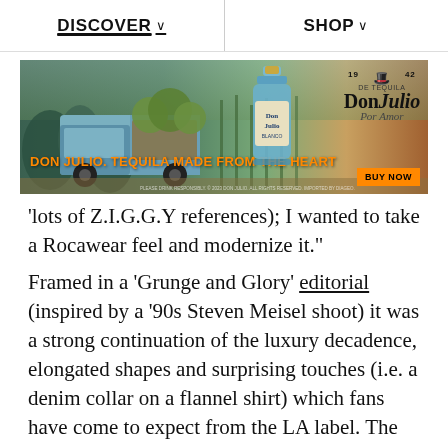DISCOVER ∨   SHOP ∨
[Figure (photo): Don Julio tequila advertisement banner showing a blue vintage truck with agave plants in background, a Don Julio Blanco bottle, and the Don Julio Por Amor logo. Text reads: DON JULIO. TEQUILA MADE FROM THE HEART. BUY NOW button in orange.]
'lots of Z.I.G.G.Y references); I wanted to take a Rocawear feel and modernize it."
Framed in a 'Grunge and Glory' editorial (inspired by a '90s Steven Meisel shoot) it was a strong continuation of the luxury decadence, elongated shapes and surprising touches (i.e. a denim collar on a flannel shirt) which fans have come to expect from the LA label. The threads have been picked up by the likes of Offset and